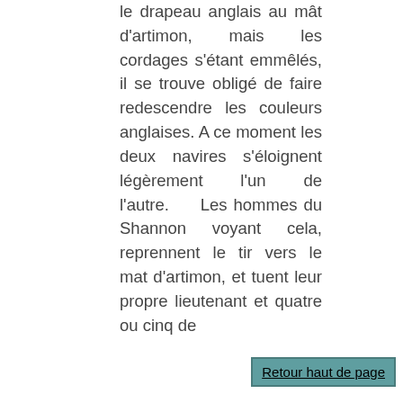le drapeau anglais au mât d'artimon, mais les cordages s'étant emmêlés, il se trouve obligé de faire redescendre les couleurs anglaises. A ce moment les deux navires s'éloignent légèrement l'un de l'autre. Les hommes du Shannon voyant cela, reprennent le tir vers le mat d'artimon, et tuent leur propre lieutenant et quatre ou cinq de
Retour haut de page